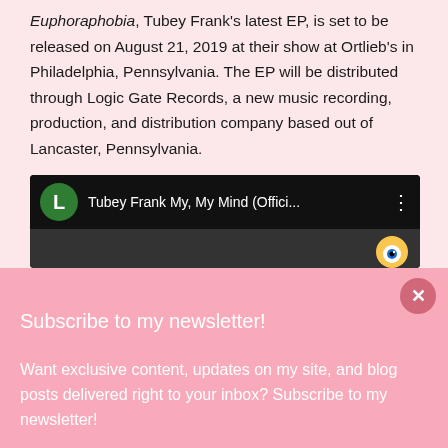Euphoraphobia, Tubey Frank's latest EP, is set to be released on August 21, 2019 at their show at Ortlieb's in Philadelphia, Pennsylvania. The EP will be distributed through Logic Gate Records, a new music recording, production, and distribution company based out of Lancaster, Pennsylvania.
[Figure (screenshot): Video player UI showing a YouTube-style video titled 'Tubey Frank My, My Mind (Offici...' with a green avatar circle showing 'L', three-dot menu, and a thumbnail with a cartoon eye visible.]
Subscribe to my newsletter!
Want exclusive content, updates on my site, and blog posts delivered right to your inbox? Subscribe to my newsletter!